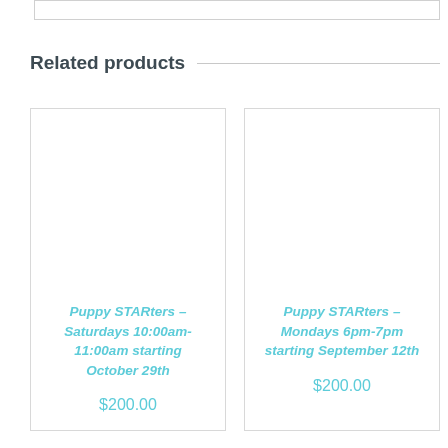Related products
Puppy STARters – Saturdays 10:00am-11:00am starting October 29th
$200.00
Puppy STARters – Mondays 6pm-7pm starting September 12th
$200.00